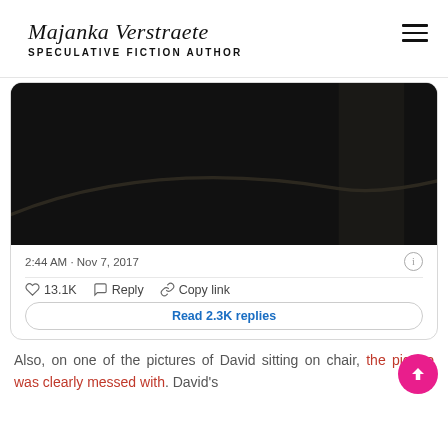Majanka Verstraete — SPECULATIVE FICTION AUTHOR
[Figure (screenshot): Screenshot of a tweet with a dark image, timestamp 2:44 AM · Nov 7, 2017, showing 13.1K likes, Reply, Copy link actions, and a 'Read 2.3K replies' button.]
Also, on one of the pictures of David sitting on chair, the picture was clearly messed with. David's